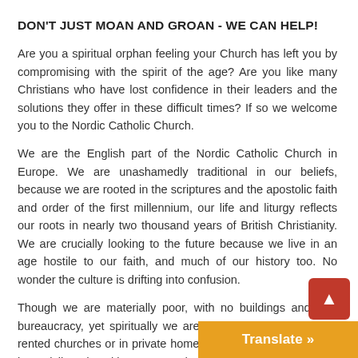DON'T JUST MOAN AND GROAN - WE CAN HELP!
Are you a spiritual orphan feeling your Church has left you by compromising with the spirit of the age? Are you like many Christians who have lost confidence in their leaders and the solutions they offer in these difficult times? If so we welcome you to the Nordic Catholic Church.
We are the English part of the Nordic Catholic Church in Europe. We are unashamedly traditional in our beliefs, because we are rooted in the scriptures and the apostolic faith and order of the first millennium, our life and liturgy reflects our roots in nearly two thousand years of British Christianity. We are crucially looking to the future because we live in an age hostile to our faith, and much of our history too. No wonder the culture is drifting into confusion.
Though we are materially poor, with no buildings and little bureaucracy, yet spiritually we are alive celebrating M... rented churches or in private homes. As Old Catholics ... in a privileged position as our orders are ...